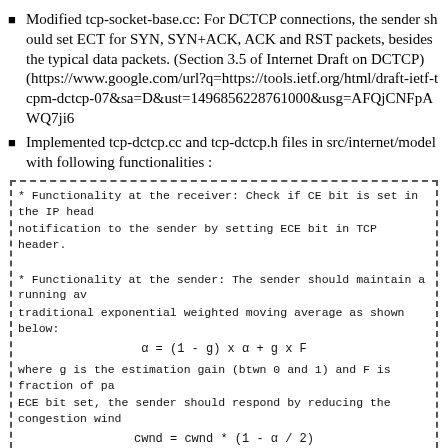Modified tcp-socket-base.cc: For DCTCP connections, the sender should set ECT for SYN, SYN+ACK, ACK and RST packets, besides the typical data packets. (Section 3.5 of Internet Draft on DCTCP) (https://www.google.com/url?q=https://tools.ietf.org/html/draft-ietf-tcpm-dctcp-07&sa=D&ust=1496856228761000&usg=AFQjCNFpAWQ7ji6
Implemented tcp-dctcp.cc and tcp-dctcp.h files in src/internet/model with following functionalities :
* Functionality at the receiver: Check if CE bit is set in the IP head notification to the sender by setting ECE bit in TCP header.
* Functionality at the sender: The sender should maintain a running av traditional exponential weighted moving average as shown below:
where g is the estimation gain (btwn 0 and 1) and F is fraction of pa ECE bit set, the sender should respond by reducing the congestion wind
Week 2 (June 6 - June 12)
Designed test-suite for DCTCP and implemented the following test cases :